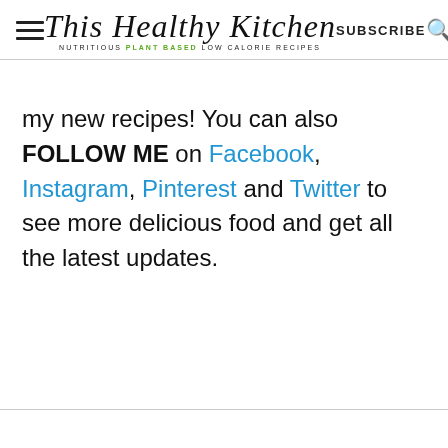This Healthy Kitchen — NUTRITIOUS PLANT BASED LOW CALORIE RECIPES | SUBSCRIBE
my new recipes! You can also FOLLOW ME on Facebook, Instagram, Pinterest and Twitter to see more delicious food and get all the latest updates.